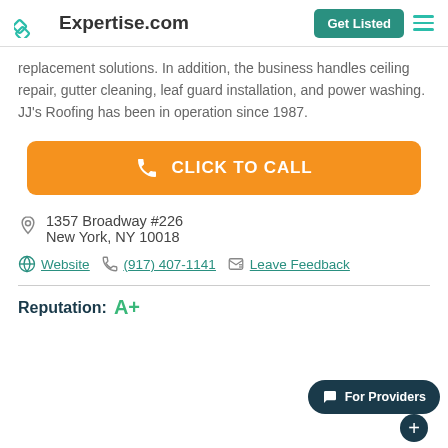Expertise.com | Get Listed
replacement solutions. In addition, the business handles ceiling repair, gutter cleaning, leaf guard installation, and power washing. JJ's Roofing has been in operation since 1987.
[Figure (other): Orange 'CLICK TO CALL' button with phone icon]
1357 Broadway #226
New York, NY 10018
Website  (917) 407-1141  Leave Feedback
Reputation: A+